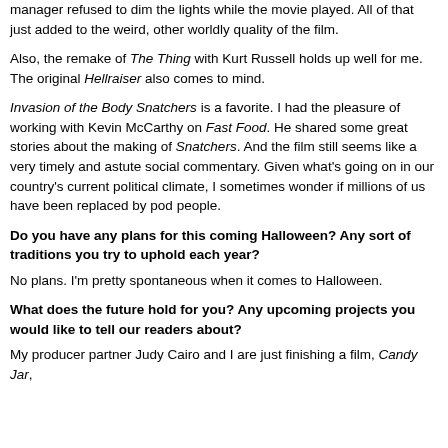manager refused to dim the lights while the movie played. All of that just added to the weird, other worldly quality of the film.
Also, the remake of The Thing with Kurt Russell holds up well for me. The original Hellraiser also comes to mind.
Invasion of the Body Snatchers is a favorite. I had the pleasure of working with Kevin McCarthy on Fast Food. He shared some great stories about the making of Snatchers. And the film still seems like a very timely and astute social commentary. Given what's going on in our country's current political climate, I sometimes wonder if millions of us have been replaced by pod people.
Do you have any plans for this coming Halloween? Any sort of traditions you try to uphold each year?
No plans. I'm pretty spontaneous when it comes to Halloween.
What does the future hold for you? Any upcoming projects you would like to tell our readers about?
My producer partner Judy Cairo and I are just finishing a film, Candy Jar,